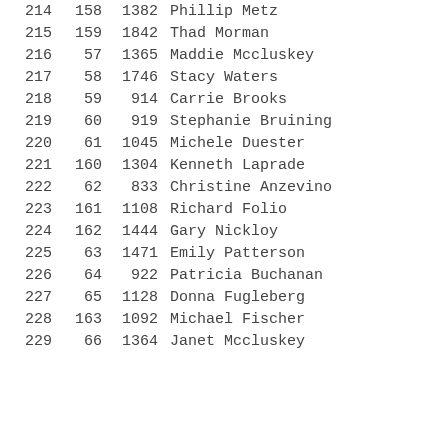|  |  |  |  |  |
| --- | --- | --- | --- | --- |
| 214 | 158 | 1382 | Phillip Metz | M |
| 215 | 159 | 1842 | Thad Morman | M |
| 216 | 57 | 1365 | Maddie Mccluskey | F |
| 217 | 58 | 1746 | Stacy Waters | F |
| 218 | 59 | 914 | Carrie Brooks | F |
| 219 | 60 | 919 | Stephanie Bruining | F |
| 220 | 61 | 1045 | Michele Duester | F |
| 221 | 160 | 1304 | Kenneth Laprade | M |
| 222 | 62 | 833 | Christine Anzevino | F |
| 223 | 161 | 1108 | Richard Folio | M |
| 224 | 162 | 1444 | Gary Nickloy | M |
| 225 | 63 | 1471 | Emily Patterson | F |
| 226 | 64 | 922 | Patricia Buchanan | F |
| 227 | 65 | 1128 | Donna Fugleberg | F |
| 228 | 163 | 1092 | Michael Fischer | M |
| 229 | 66 | 1364 | Janet Mccluskey | F |